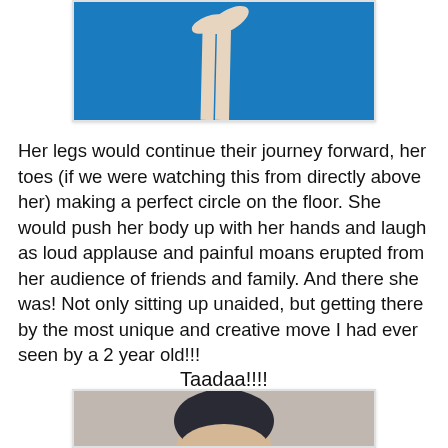[Figure (photo): Partial photo showing legs/feet against a blue background, cropped at top of page]
Her legs would continue their journey forward, her toes (if we were watching this from directly above her) making a perfect circle on the floor. She would push her body up with her hands and laugh as loud applause and painful moans erupted from her audience of friends and family. And there she was! Not only sitting up unaided, but getting there by the most unique and creative move I had ever seen by a 2 year old!!!
Taadaa!!!!
[Figure (photo): Partial photo showing top of a child's head, cropped at bottom of page]